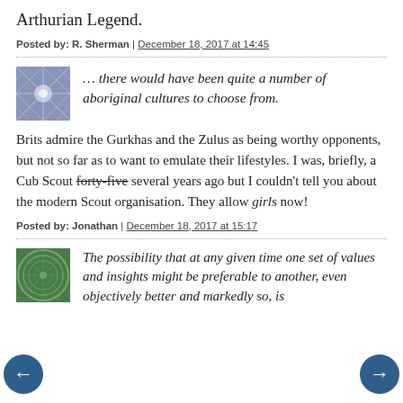Arthurian Legend.
Posted by: R. Sherman | December 18, 2017 at 14:45
… there would have been quite a number of aboriginal cultures to choose from.
Brits admire the Gurkhas and the Zulus as being worthy opponents, but not so far as to want to emulate their lifestyles. I was, briefly, a Cub Scout forty-five several years ago but I couldn't tell you about the modern Scout organisation. They allow girls now!
Posted by: Jonathan | December 18, 2017 at 15:17
The possibility that at any given time one set of values and insights might be preferable to another, even objectively better and markedly so, is